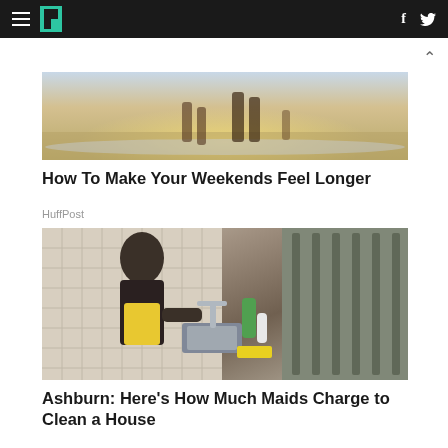HuffPost navigation bar with hamburger menu, logo, and social icons (f, Twitter)
[Figure (photo): People walking on a beach with sunlight reflecting on water, legs visible from below the knee]
How To Make Your Weekends Feel Longer
HuffPost
[Figure (photo): Woman in black tank top and yellow apron washing dishes at a kitchen sink, cleaning supplies visible]
Ashburn: Here's How Much Maids Charge to Clean a House